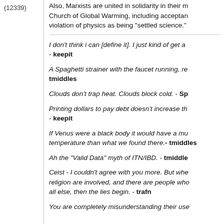(12339)
Also, Marxists are united in solidarity in their membership in the Church of Global Warming, including acceptance of Greenhouse Gas violation of physics as being "settled science."
I don't think i can [define it]. I just kind of get a ... - keepit
A Spaghetti strainer with the faucet running, re... - tmiddles
Clouds don't trap heat. Clouds block cold. - Sp...
Printing dollars to pay debt doesn't increase th... - keepit
If Venus were a black body it would have a mu... temperature than what we found there.- tmiddles
Ah the "Valid Data" myth of ITN/IBD. - tmiddles
Ceist - I couldn't agree with you more. But whe... religion are involved, and there are people who... all else, then the lies begin. - trafn
You are completely misunderstanding their use...